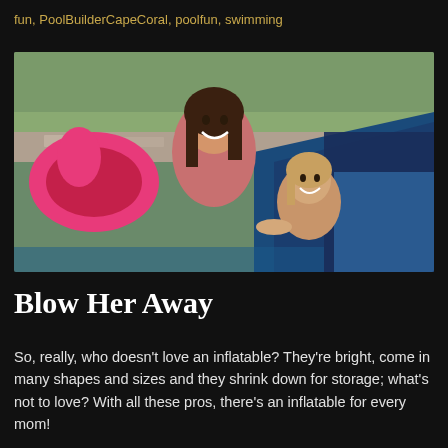fun, PoolBuilderCapeCoral, poolfun, swimming
[Figure (photo): A smiling woman and a young girl in a pool with a bright pink inflatable ring; sunny outdoor setting with blue pool water and stone wall in background]
Blow Her Away
So, really, who doesn't love an inflatable? They're bright, come in many shapes and sizes and they shrink down for storage; what's not to love? With all these pros, there's an inflatable for every mom!